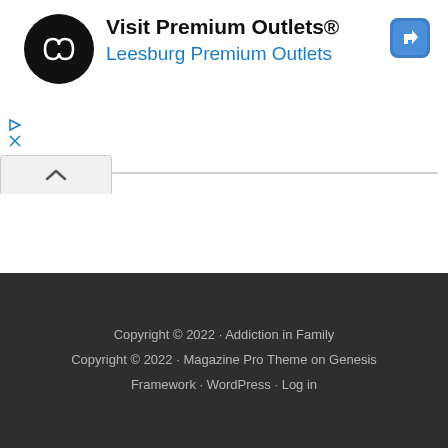[Figure (screenshot): Advertisement banner for Premium Outlets / Leesburg Premium Outlets, with circular logo, ad controls, and a navigation turn icon on the right.]
Copyright © 2022 · Addiction in Family
Copyright © 2022 · Magazine Pro Theme on Genesis Framework · WordPress · Log in